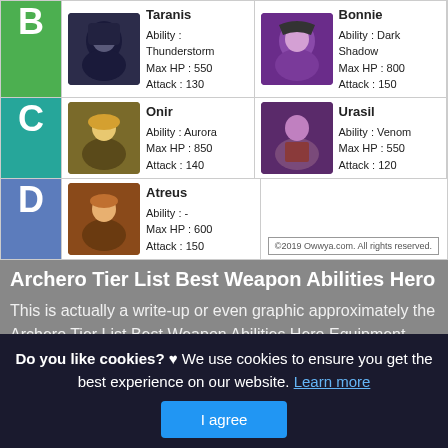[Figure (table-as-image): Archero hero tier list table showing B, C, D tier rows with hero portraits and stats for Taranis, Bonnie, Onir, Urasil, and Atreus]
Archero Tier List Best Weapon Abilities Hero
This is actually a write-up or even graphic approximately the Archero Tier List Best Weapon Abilities Hero Equipment Mobile, if you prefer much a lot extra relevant information approximately the write-up or even graphic satisfy hit or even see the adhering to web link or even web link .
Do you like cookies? ♥ We use cookies to ensure you get the best experience on our website. Learn more
I agree